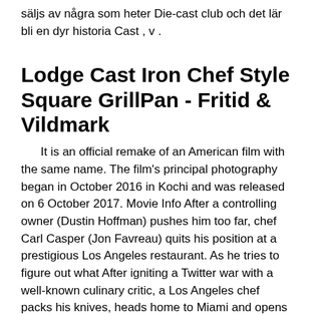säljs av några som heter Die-cast club och det lär bli en dyr historia Cast , v .
Lodge Cast Iron Chef Style Square GrillPan - Fritid & Vildmark
It is an official remake of an American film with the same name. The film's principal photography began in October 2016 in Kochi and was released on 6 October 2017. Movie Info After a controlling owner (Dustin Hoffman) pushes him too far, chef Carl Casper (Jon Favreau) quits his position at a prestigious Los Angeles restaurant. As he tries to figure out what After igniting a Twitter war with a well-known culinary critic, a Los Angeles chef packs his knives, heads home to Miami and opens a food